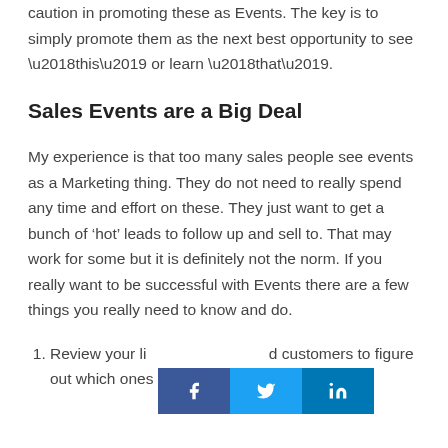caution in promoting these as Events. The key is to simply promote them as the next best opportunity to see ‘this’ or learn ‘that’.
Sales Events are a Big Deal
My experience is that too many sales people see events as a Marketing thing. They do not need to really spend any time and effort on these. They just want to get a bunch of ‘hot’ leads to follow up and sell to. That may work for some but it is definitely not the norm. If you really want to be successful with Events there are a few things you really need to know and do.
Review your li... d customers to figure out which ones could most benefit from
[Figure (infographic): Social sharing bar with Facebook (f), Twitter (bird), and LinkedIn (in) icons]